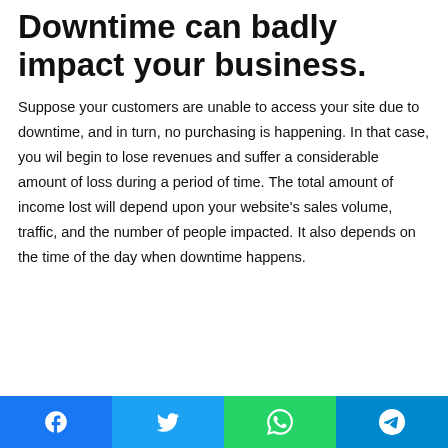Downtime can badly impact your business.
Suppose your customers are unable to access your site due to downtime, and in turn, no purchasing is happening. In that case, you wil begin to lose revenues and suffer a considerable amount of loss during a period of time.  The total amount of income lost will depend upon your website's sales volume, traffic, and the number of people impacted. It also depends on the time of the day when downtime happens.
[Figure (infographic): Blue banner advertisement for Bare-Metal Dedicated Server: Fast, Reliable, Secured with a Click Here button, logo, and image of server hardware on yellow background.]
Consequently, you will not only lose money but more importantly, you will lose the potential customers and the reputation in the market. The downtime can come out as a
Facebook | Twitter | WhatsApp | Telegram social share bar